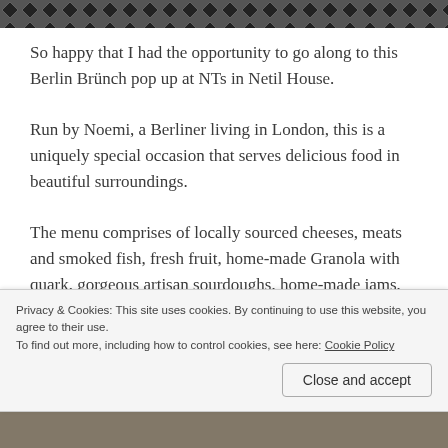[Figure (photo): Top portion of a decorative image with geometric black and white diamond pattern, partially visible at top of page.]
So happy that I had the opportunity to go along to this Berlin Brünch pop up at NTs in Netil House.
Run by Noemi, a Berliner living in London, this is a uniquely special occasion that serves delicious food in beautiful surroundings.
The menu comprises of locally sourced cheeses, meats and smoked fish, fresh fruit, home-made Granola with quark, gorgeous artisan sourdoughs, home-made jams, Nutella, typical German desserts & cakes, finest coffee
Privacy & Cookies: This site uses cookies. By continuing to use this website, you agree to their use.
To find out more, including how to control cookies, see here: Cookie Policy
Close and accept
[Figure (photo): Bottom portion of a photo, partially visible at bottom of page, showing what appears to be food on a wooden surface.]